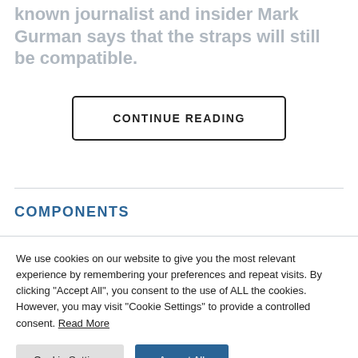known journalist and insider Mark Gurman says that the straps will still be compatible.
CONTINUE READING
COMPONENTS
We use cookies on our website to give you the most relevant experience by remembering your preferences and repeat visits. By clicking "Accept All", you consent to the use of ALL the cookies. However, you may visit "Cookie Settings" to provide a controlled consent. Read More
Cookie Settings
Accept All